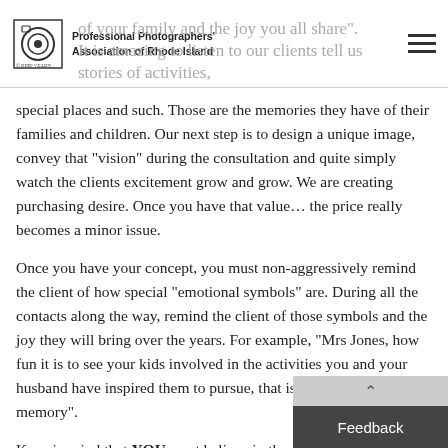Professional Photographers Association of Rhode Island
of your family and the joy you all share". It is amazing to listen to our clients tell us stories of activities, special places and such. Those are the memories they have of their families and children. Our next step is to design a unique image, convey that “vision” during the consultation and quite simply watch the clients excitement grow and grow. We are creating purchasing desire. Once you have that value... the price really becomes a minor issue.
Once you have your concept, you must non-aggressively remind the client of how special “emotional symbols” are. During all the contacts along the way, remind the client of those symbols and the joy they will bring over the years. For example, “Mrs Jones, how fun it is to see your kids involved in the activities you and your husband have inspired them to pursue, that is a heck of a memory”.
Keep in mind that YOU must believe in the value of the addition of emotional symbols and convey your enthusiasm whenever possible and DO IT HONESTLY. “Mrs. Jones, I a